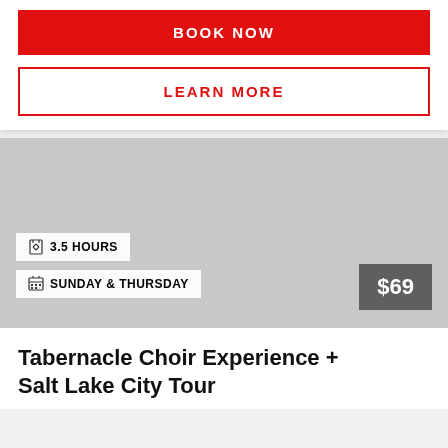BOOK NOW
LEARN MORE
[Figure (photo): Gray placeholder image with overlaid badges showing 3.5 HOURS, SUNDAY & THURSDAY, and $69 price]
Tabernacle Choir Experience + Salt Lake City Tour